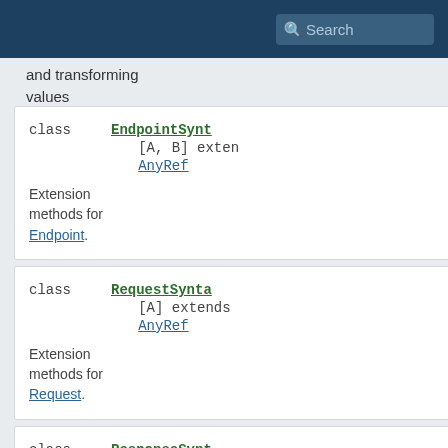Search
and transforming values
class EndpointSynt [A, B] extends AnyRef — Extension methods for Endpoint.
class RequestSynta [A] extends AnyRef — Extension methods for Request.
class ResponseSynt [A] extends AnyRef — Extension methods for Response.